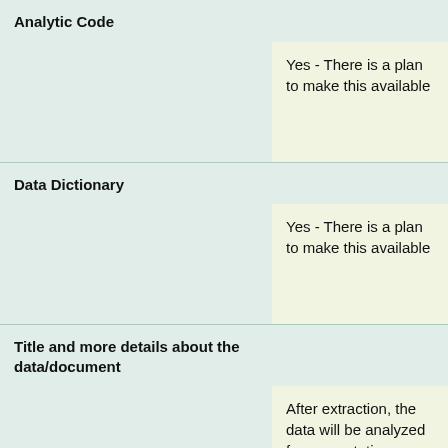| Category | Response |
| --- | --- |
| Analytic Code | Yes - There is a plan to make this available |
| Data Dictionary | Yes - There is a plan to make this available |
| Title and more details about the data/document | After extraction, the data will be analyzed for presentation as a scientific |